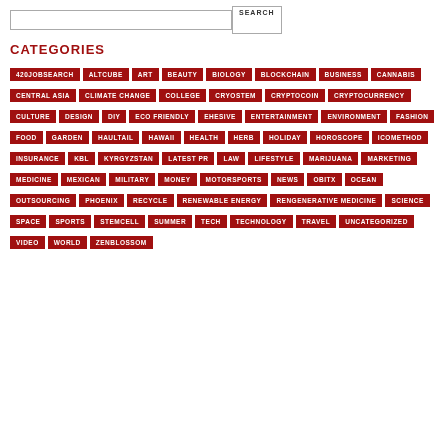CATEGORIES
420JOBSEARCH
ALTCUBE
ART
BEAUTY
BIOLOGY
BLOCKCHAIN
BUSINESS
CANNABIS
CENTRAL ASIA
CLIMATE CHANGE
COLLEGE
CRYOSTEM
CRYPTOCOIN
CRYPTOCURRENCY
CULTURE
DESIGN
DIY
ECO FRIENDLY
EHESIVE
ENTERTAINMENT
ENVIRONMENT
FASHION
FOOD
GARDEN
HAULTAIL
HAWAII
HEALTH
HERB
HOLIDAY
HOROSCOPE
ICOMETHOD
INSURANCE
KBL
KYRGYZSTAN
LATEST PR
LAW
LIFESTYLE
MARIJUANA
MARKETING
MEDICINE
MEXICAN
MILITARY
MONEY
MOTORSPORTS
NEWS
OBITX
OCEAN
OUTSOURCING
PHOENIX
RECYCLE
RENEWABLE ENERGY
RENGENERATIVE MEDICINE
SCIENCE
SPACE
SPORTS
STEMCELL
SUMMER
TECH
TECHNOLOGY
TRAVEL
UNCATEGORIZED
VIDEO
WORLD
ZENBLOSSOM